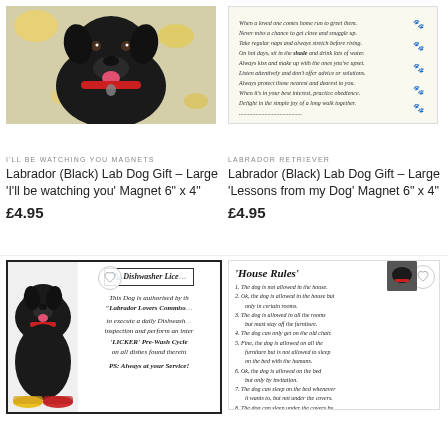[Figure (photo): Black Labrador dog photo on food/cheese patterned background]
I'LL BE WATCHING YOU MAGNETS
Labrador (Black) Lab Dog Gift – Large 'I'll be watching you' Magnet 6" x 4"
£4.95
[Figure (photo): Lessons from my Dog text on white background with paw prints]
LABRADOR RETRIEVER
Labrador (Black) Lab Dog Gift – Large 'Lessons from my Dog' Magnet 6" x 4"
£4.95
[Figure (photo): Black Labrador with Dishwasher Licker certificate text and food bowls]
[Figure (photo): House Rules list for dog with heart button]